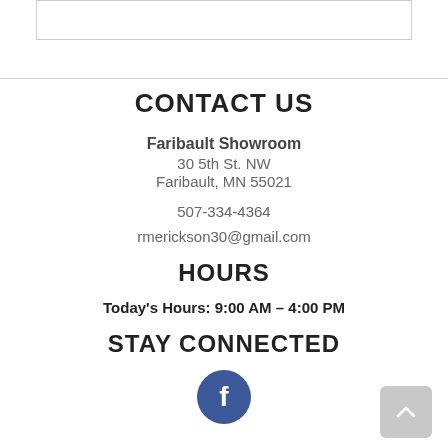CONTACT US
Faribault Showroom
30 5th St. NW
Faribault, MN 55021
507-334-4364
rmerickson30@gmail.com
HOURS
Today's Hours: 9:00 AM - 4:00 PM
STAY CONNECTED
[Figure (logo): Facebook circular icon - blue circle with white 'f' letter]